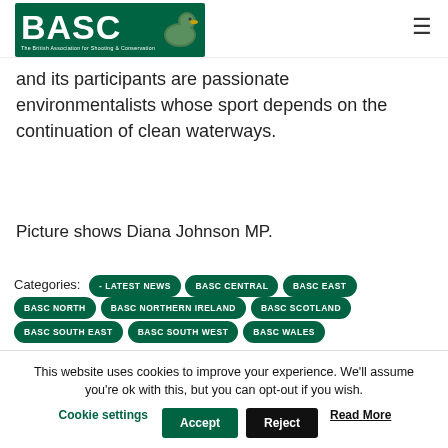BASC - The British Association for Shooting & Conservation
and its participants are passionate environmentalists whose sport depends on the continuation of clean waterways.
Picture shows Diana Johnson MP.
Categories: - LATEST NEWS  BASC CENTRAL  BASC EAST  BASC NORTH  BASC NORTHERN IRELAND  BASC SCOTLAND  BASC SOUTH EAST  BASC SOUTH WEST  BASC WALES
This website uses cookies to improve your experience. We'll assume you're ok with this, but you can opt-out if you wish. Cookie settings  Accept  Reject  Read More